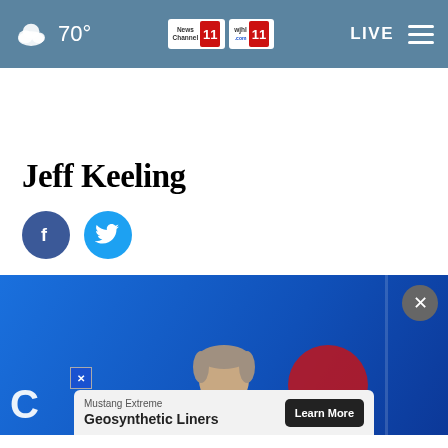70° News Channel 11 wjhl.com 11 LIVE
Jeff Keeling
[Figure (illustration): Facebook social share button (blue circle with white f icon)]
[Figure (illustration): Twitter social share button (cyan circle with white bird icon)]
[Figure (photo): Jeff Keeling in a TV studio with blue background and News Channel 11 branding]
Mustang Extreme Geosynthetic Liners
Learn More